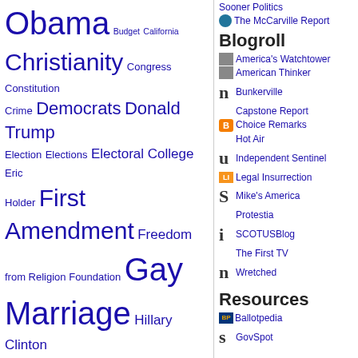[Figure (other): Tag cloud widget with political terms in varying font sizes, all in blue/navy color]
(Click Here For All Tags)
Sooner Politics
The McCarville Report
Blogroll
America's Watchtower
American Thinker
Bunkerville
Capstone Report
Choice Remarks
Hot Air
Independent Sentinel
Legal Insurrection
Mike's America
Protestia
SCOTUSBlog
The First TV
Wretched
Resources
Ballotpedia
GovSpot